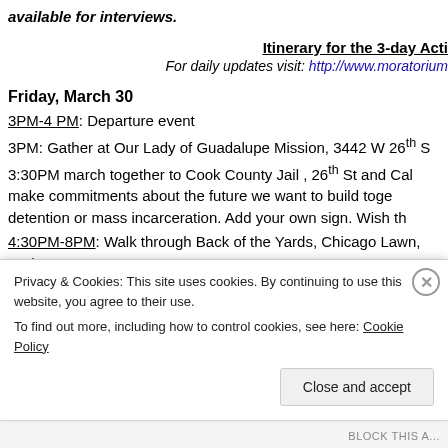available for interviews.
Itinerary for the 3-day Acti
For daily updates visit: http://www.moratorium
Friday, March 30
3PM-4 PM: Departure event
3PM: Gather at Our Lady of Guadalupe Mission, 3442 W 26th S
3:30PM march together to Cook County Jail , 26th St and Cal make commitments about the future we want to build toge detention or mass incarceration. Add your own sign. Wish th
4:30PM-8PM: Walk through Back of the Yards, Chicago Lawn, Park
Privacy & Cookies: This site uses cookies. By continuing to use this website, you agree to their use. To find out more, including how to control cookies, see here: Cookie Policy
Close and accept